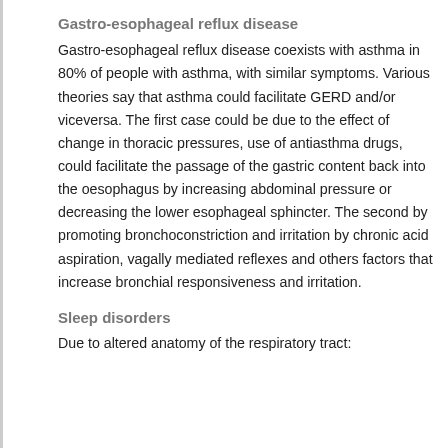Gastro-esophageal reflux disease
Gastro-esophageal reflux disease coexists with asthma in 80% of people with asthma, with similar symptoms. Various theories say that asthma could facilitate GERD and/or viceversa. The first case could be due to the effect of change in thoracic pressures, use of antiasthma drugs, could facilitate the passage of the gastric content back into the oesophagus by increasing abdominal pressure or decreasing the lower esophageal sphincter. The second by promoting bronchoconstriction and irritation by chronic acid aspiration, vagally mediated reflexes and others factors that increase bronchial responsiveness and irritation.
Sleep disorders
Due to altered anatomy of the respiratory tract: